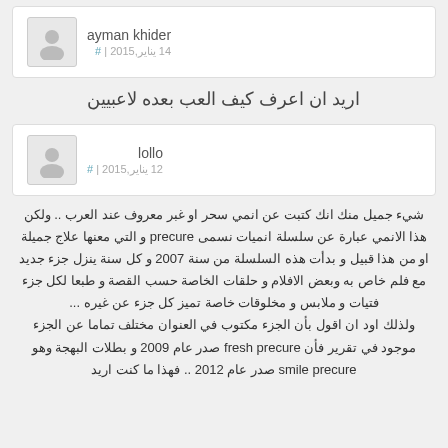ayman khider
14 يناير,2015 | #
اريد ان اعرف كيف العب بعده لاعبيين
lollo
12 يناير,2015 | #
شيء جميل منك انك كتبت عن انمي سحر او غبر معروف عند العرب .. ولكن هذا الانمي عبارة عن سلسلة انميات نسمى precure و التي معنها علاج جميلة او من هذا قبيل و بدأت هذه السلسلة من سنة 2007 و كل سنة ينزل جزء جديد مع فلم خاص به وبعض الافلام و حلقات الخاصة حسب القصة و طبعا لكل جزء فتيات و ملابس و مخلوقات خاصة تميز كل جزء عن غيره ...
ولذلك اود ان اقول بأن الجزء مكتوب في العنوان مختلف تماما عن الجزء موجود في تقرير فأن fresh precure صدر عام 2009 و بطلات البهجة وهو smile precure صدر عام 2012 .. فهذا ما كنت اريد